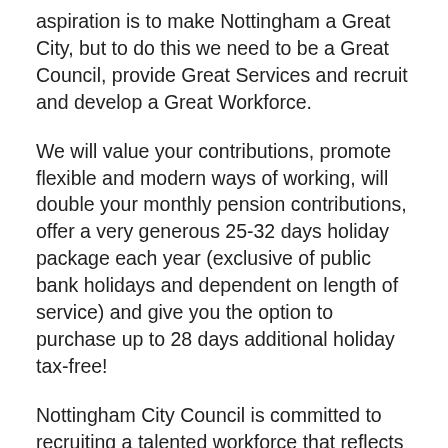aspiration is to make Nottingham a Great City, but to do this we need to be a Great Council, provide Great Services and recruit and develop a Great Workforce.
We will value your contributions, promote flexible and modern ways of working, will double your monthly pension contributions, offer a very generous 25-32 days holiday package each year (exclusive of public bank holidays and dependent on length of service) and give you the option to purchase up to 28 days additional holiday tax-free!
Nottingham City Council is committed to recruiting a talented workforce that reflects the